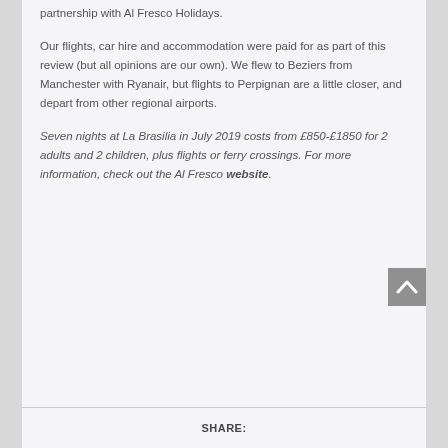partnership with Al Fresco Holidays.
Our flights, car hire and accommodation were paid for as part of this review (but all opinions are our own). We flew to Beziers from Manchester with Ryanair, but flights to Perpignan are a little closer, and depart from other regional airports.
Seven nights at La Brasilia in July 2019 costs from £850-£1850 for 2 adults and 2 children, plus flights or ferry crossings. For more information, check out the Al Fresco website.
SHARE: